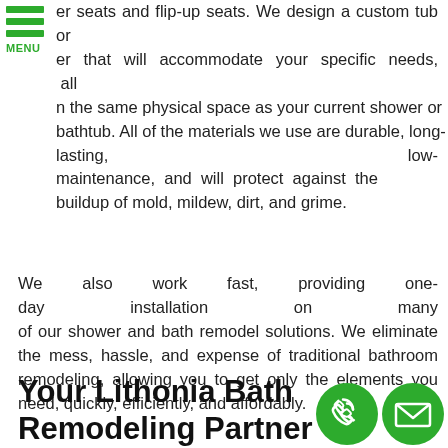[Figure (other): Green hamburger menu icon with three horizontal green bars and MENU label below]
er seats and flip-up seats. We design a custom tub or er that will accommodate your specific needs, all n the same physical space as your current shower or bathtub. All of the materials we use are durable, long-lasting, low-maintenance, and will protect against the buildup of mold, mildew, dirt, and grime.
We also work fast, providing one-day installation on many of our shower and bath remodel solutions. We eliminate the mess, hassle, and expense of traditional bathroom remodeling, allowing you to get only the elements you need, quickly, efficiently, and affordably.
Your Lithonia Bath Remodeling Partner
[Figure (illustration): Green circle with white phone handset icon]
[Figure (illustration): Green circle with white envelope/email icon]